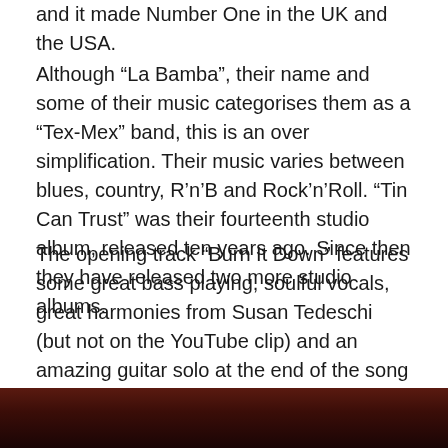and it made Number One in the UK and the USA.
Although “La Bamba”, their name and some of their music categorises them as a “Tex-Mex” band, this is an over simplification. Their music varies between blues, country, R’n’B and Rock’n’Roll. “Tin Can Trust” was their fourteenth studio album, released ten years ago. Since then they have released two more studio albums.
The opening track “Burn It Down” features some great bass playing, soulful vocals, great harmonies from Susan Tedeschi (but not on the YouTube clip) and an amazing guitar solo at the end of the song (even better on the YouTube clip). It’s an opening song that really makes a statement that this is a serious record from one of the great American bands.
[Figure (photo): Dark reddish photo strip at the bottom of the page, showing partial image of people or a band]